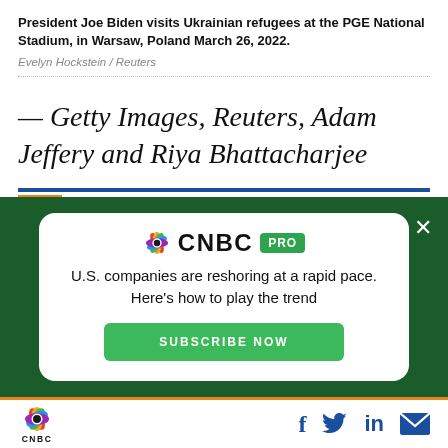President Joe Biden visits Ukrainian refugees at the PGE National Stadium, in Warsaw, Poland March 26, 2022.
Evelyn Hockstein / Reuters
— Getty Images, Reuters, Adam Jeffery and Riya Bhattacharjee
[Figure (infographic): CNBC PRO subscription advertisement with headline: U.S. companies are reshoring at a rapid pace. Here's how to play the trend. Green SUBSCRIBE NOW button. Dark green background with white card.]
CNBC logo with social media icons: Facebook, Twitter, LinkedIn, Email